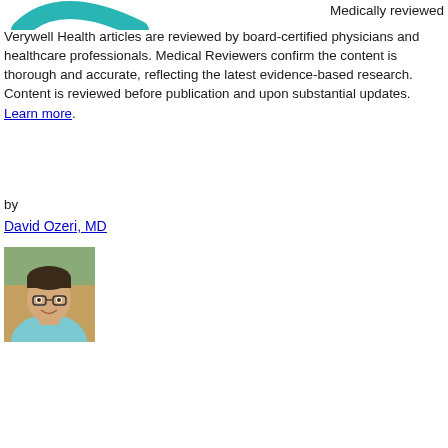[Figure (logo): Verywell Health teal curved logo mark (partial, top of page)]
Medically reviewed
Verywell Health articles are reviewed by board-certified physicians and healthcare professionals. Medical Reviewers confirm the content is thorough and accurate, reflecting the latest evidence-based research. Content is reviewed before publication and upon substantial updates. Learn more.
by
David Ozeri, MD
[Figure (photo): Headshot photo of David Ozeri, MD — a young man with glasses and short dark hair wearing a light blue shirt, photographed outdoors]